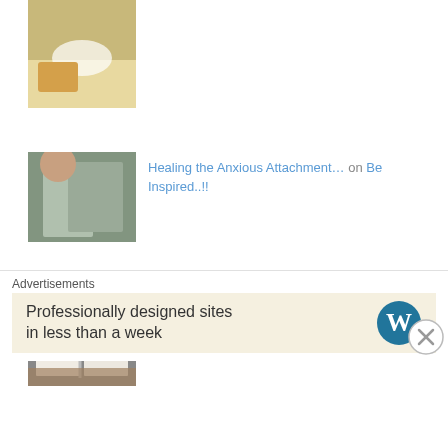[Figure (photo): Thumbnail photo of beach scene with food and coffee cup]
[Figure (photo): Thumbnail photo of person reading on a couch]
Healing the Anxious Attachment… on Be Inspired..!!
[Figure (photo): Thumbnail photo of open book being held]
Balkan Literature: Where brill… on Pointless Overthinking
[Figure (photo): Thumbnail photo of woman in red holding a book]
Blog Tour Thank you: The Hedge… on M J Mallon YA Author and Poet
Advertisements
Professionally designed sites in less than a week